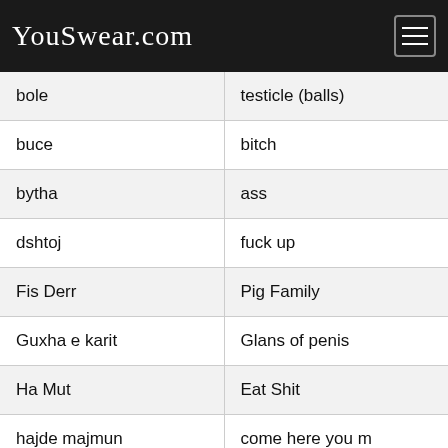YouSwear.com
| term | translation |
| --- | --- |
| bole | testicle (balls) |
| buce | bitch |
| bytha | ass |
| dshtoj | fuck up |
| Fis Derr | Pig Family |
| Guxha e karit | Glans of penis |
| Ha Mut | Eat Shit |
| hajde majmun | come here you m |
| kari | dick |
| kok derr | thick headed / big |